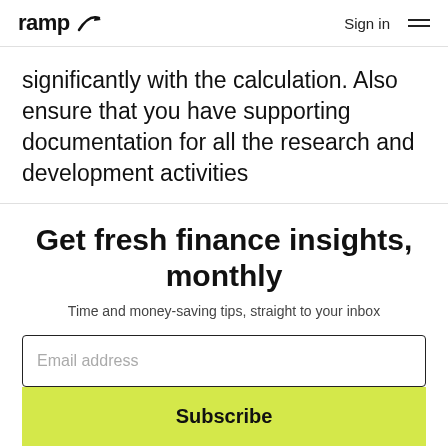ramp  Sign in
significantly with the calculation. Also ensure that you have supporting documentation for all the research and development activities
Get fresh finance insights, monthly
Time and money-saving tips, straight to your inbox
Email address
Subscribe
No, thank you